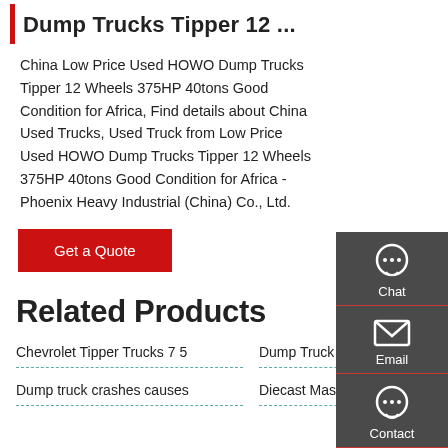Dump Trucks Tipper 12 ...
China Low Price Used HOWO Dump Trucks Tipper 12 Wheels 375HP 40tons Good Condition for Africa, Find details about China Used Trucks, Used Truck from Low Price Used HOWO Dump Trucks Tipper 12 Wheels 375HP 40tons Good Condition for Africa - Phoenix Heavy Industrial (China) Co., Ltd.
Get a Quote
Related Products
Chevrolet Tipper Trucks 7 5
Dump Truck Tenders -
Dump truck crashes causes
Diecast Masters Caterpillar
[Figure (infographic): Sidebar with Chat, Email, Contact, and Top navigation icons on dark grey background]